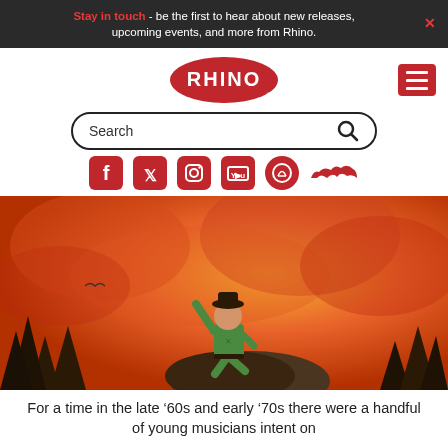Stay in touch - be the first to hear about new releases, upcoming events, and more from Rhino.
[Figure (logo): Rhino Records red oval logo with white RHINO text]
[Figure (infographic): Social media icons row: Facebook, Twitter, Instagram, YouTube, Spotify, SoundCloud — all in red]
[Figure (illustration): Album artwork showing a person in green clothes standing on a rock in a dramatic orange/red sky with pine trees in foreground]
For a time in the late ’60s and early ’70s there were a handful of young musicians intent on